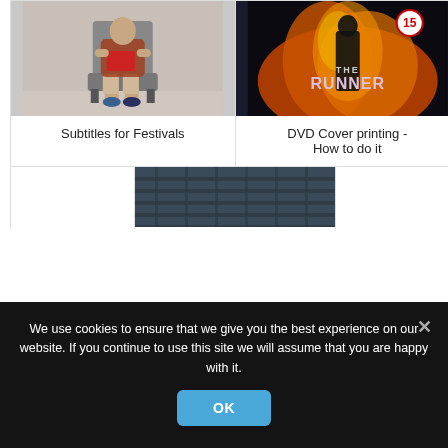[Figure (photo): Person sitting in a chair reading, grey background — Subtitles for Festivals card image]
Subtitles for Festivals
[Figure (photo): DVD cover for 'The Runner' with fire and a man in a suit, rated 15 — DVD Cover printing card image]
DVD Cover printing - How to do it
[Figure (photo): Partial image of a building facade — third card partially visible]
We use cookies to ensure that we give you the best experience on our website. If you continue to use this site we will assume that you are happy with it.